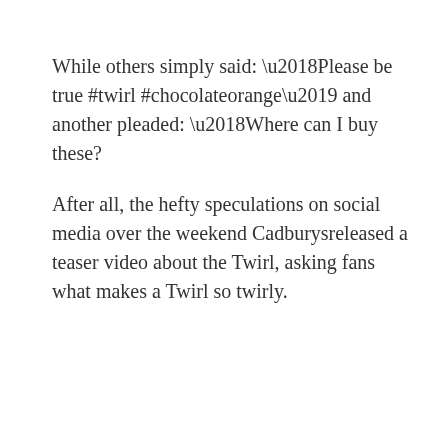While others simply said: ‘Please be true #twirl #chocolateorange’ and another pleaded: ‘Where can I buy these?
After all, the hefty speculations on social media over the weekend Cadburysreleased a teaser video about the Twirl, asking fans what makes a Twirl so twirly.